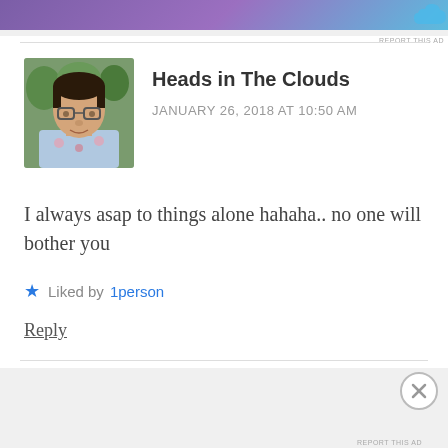[Figure (photo): Top advertisement banner with purple/blue gradient and cloud icon]
Heads in The Clouds
JANUARY 26, 2018 AT 10:50 AM
I always asap to things alone hahaha.. no one will bother you
★ Liked by 1person
Reply
[Figure (other): DuckDuckGo advertisement banner: Search, browse, and email with more privacy. All in One Free App]
Advertisements